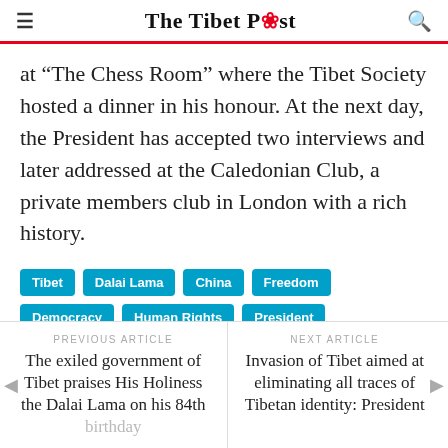The Tibet Post
at "The Chess Room" where the Tibet Society hosted a dinner in his honour. At the next day, the President has accepted two interviews and later addressed at the Caledonian Club, a private members club in London with a rich history.
Tibet
Dalai Lama
China
Freedom
Democracy
Human Rights
President
United Kingdom
House of Commons
PREVIOUS ARTICLE
The exiled government of Tibet praises His Holiness the Dalai Lama on his 84th birthday
NEXT ARTICLE
Invasion of Tibet aimed at eliminating all traces of Tibetan identity: President